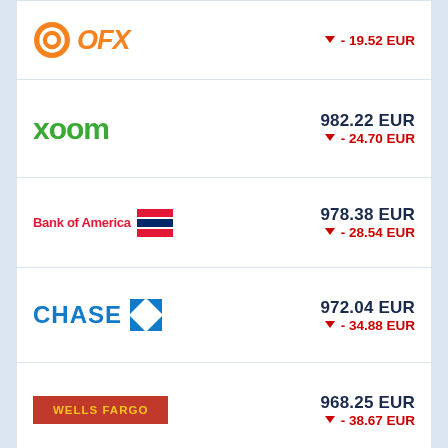[Figure (logo): OFX logo - orange circle with OFX text in italic]
▼ - 19.52 EUR
[Figure (logo): Xoom logo - green bold text]
982.22 EUR
▼ - 24.70 EUR
[Figure (logo): Bank of America logo with red text and flag stripes]
978.38 EUR
▼ - 28.54 EUR
[Figure (logo): Chase logo - blue bold text with octagon symbol]
972.04 EUR
▼ - 34.88 EUR
[Figure (logo): Wells Fargo logo - red badge with yellow text]
968.25 EUR
▼ - 38.67 EUR